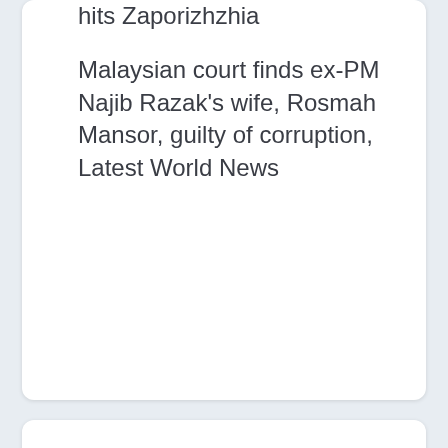hits Zaporizhzhia
Malaysian court finds ex-PM Najib Razak's wife, Rosmah Mansor, guilty of corruption, Latest World News